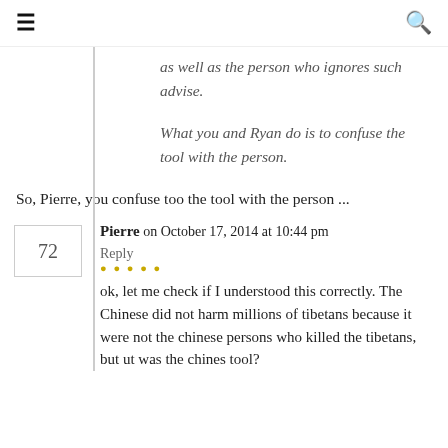≡  🔍
as well as the person who ignores such advise.

What you and Ryan do is to confuse the tool with the person.
So, Pierre, you confuse too the tool with the person ...
72  Pierre on October 17, 2014 at 10:44 pm
Reply
ok, let me check if I understood this correctly. The Chinese did not harm millions of tibetans because it were not the chinese persons who killed the tibetans, but ut was the chines tool?